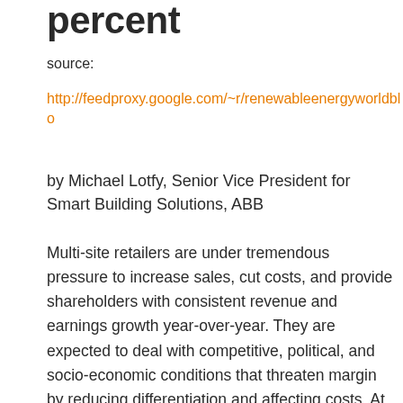percent
source:
http://feedproxy.google.com/~r/renewableenergyworldblo
by Michael Lotfy, Senior Vice President for Smart Building Solutions, ABB
Multi-site retailers are under tremendous pressure to increase sales, cut costs, and provide shareholders with consistent revenue and earnings growth year-over-year. They are expected to deal with competitive, political, and socio-economic conditions that threaten margin by reducing differentiation and affecting costs. At the same time, they must also create and maintain a superior customer experience.